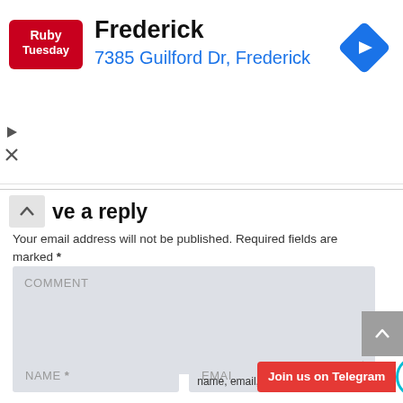[Figure (screenshot): Ruby Tuesday restaurant ad banner with logo, name 'Frederick', address '7385 Guilford Dr, Frederick', and a blue navigation diamond icon]
ve a reply
Your email address will not be published. Required fields are marked *
COMMENT
NAME *
EMAIL
Join us on Telegram
name, email, and website in this